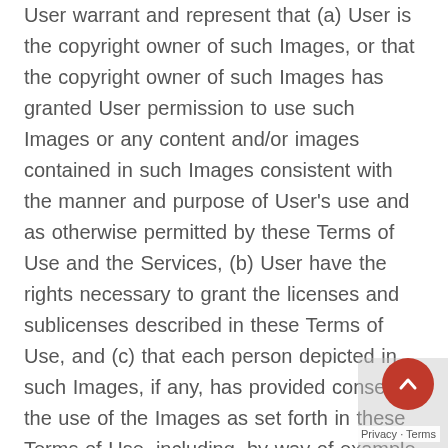User warrant and represent that (a) User is the copyright owner of such Images, or that the copyright owner of such Images has granted User permission to use such Images or any content and/or images contained in such Images consistent with the manner and purpose of User's use and as otherwise permitted by these Terms of Use and the Services, (b) User have the rights necessary to grant the licenses and sublicenses described in these Terms of Use, and (c) that each person depicted in such Images, if any, has provided consent to the use of the Images as set forth in these Terms of Use, including, by way of example, and not as a limitation, the distribution, public display and reproduction of such Images. By Posting Images, User is granting (a) to all members of User's private community (for each